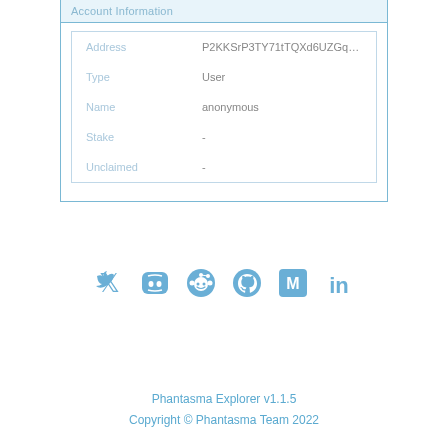Account Information
| Field | Value |
| --- | --- |
| Address | P2KKSrP3TY71tTQXd6UZGqsUvaqBcMI |
| Type | User |
| Name | anonymous |
| Stake | - |
| Unclaimed | - |
[Figure (infographic): Social media icons row: Twitter, Discord, Reddit, GitHub, Medium, LinkedIn — all in blue tone]
Phantasma Explorer v1.1.5
Copyright © Phantasma Team 2022